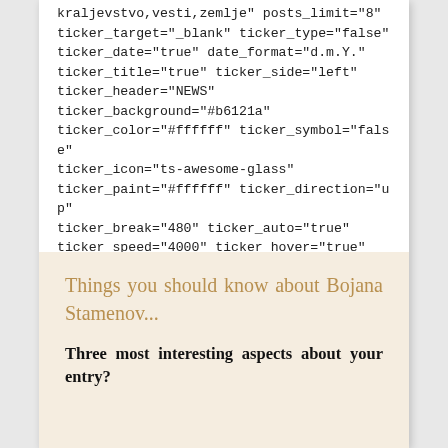kraljevstvo,vesti,zemlje" posts_limit="8" ticker_target="_blank" ticker_type="false" ticker_date="true" date_format="d.m.Y." ticker_title="true" ticker_side="left" ticker_header="NEWS" ticker_background="#b6121a" ticker_color="#ffffff" ticker_symbol="false" ticker_icon="ts-awesome-glass" ticker_paint="#ffffff" ticker_direction="up" ticker_break="480" ticker_auto="true" ticker_speed="4000" ticker_hover="true" ticker_controls="false" ticker_fixed="false" ticker_position="top" ticker_adjustment="0" ticker_border_type="solid" ticker_border_thick="1" ticker_border_color="#b6121a" margin_top="0" margin_bottom="0" el_id="vesti_ticker"]
Things you should know about Bojana Stamenov...
Three most interesting aspects about your entry?